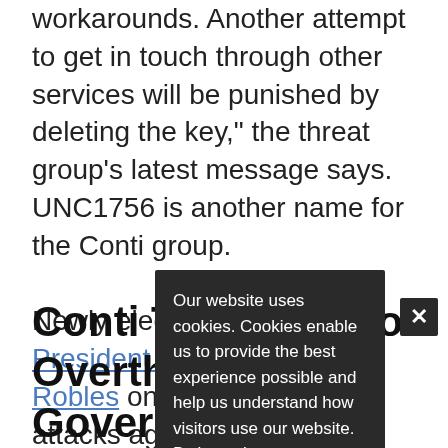workarounds. Another attempt to get in touch through other services will be punished by deleting the key," the threat group's latest message says. UNC1756 is another name for the Conti group.
Newly elected Costa Rican President Rodrigo Chaves Robles on Monday said the attacks against the government are originating from both inside and outside the country, concurring with Conti's claims.
Chaves also criticized former President Carlos Alvarado Quesada for not investing in cybersecurity, adding that the impact of the ongoing cyberattacks was broader than previously known. So far, 27 government institutions, including municipalities and state-run utilities, have been affected, he said.
Our website uses cookies. Cookies enable us to provide the best experience possible and help us understand how visitors use our website. By browsing databreachtoday.in, you agree to our use of cookies.
Conti Threatens to Overthrow the Government